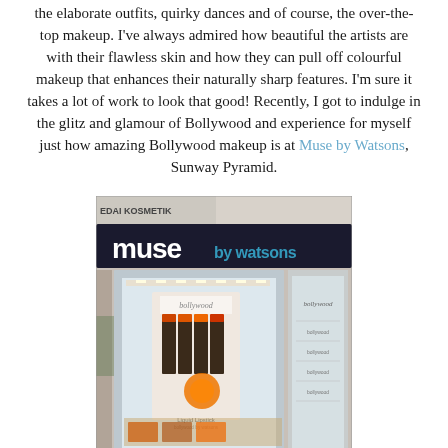the elaborate outfits, quirky dances and of course, the over-the-top makeup. I've always admired how beautiful the artists are with their flawless skin and how they can pull off colourful makeup that enhances their naturally sharp features. I'm sure it takes a lot of work to look that good! Recently, I got to indulge in the glitz and glamour of Bollywood and experience for myself just how amazing Bollywood makeup is at Muse by Watsons, Sunway Pyramid.
[Figure (photo): Interior of Muse by Watsons store at Sunway Pyramid, showing the illuminated store sign 'muse by watsons' and a display of Bollywood branded orange liquid lipstick products.]